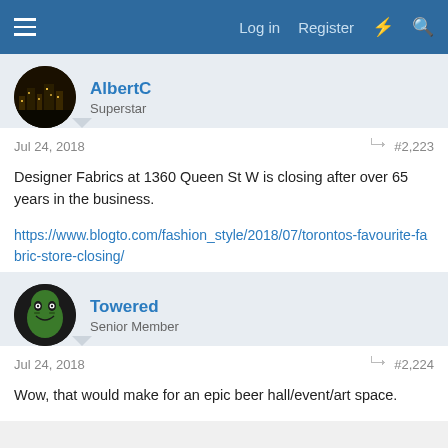Log in  Register
AlbertC
Superstar
Jul 24, 2018  #2,223
Designer Fabrics at 1360 Queen St W is closing after over 65 years in the business.

https://www.blogto.com/fashion_style/2018/07/torontos-favourite-fabric-store-closing/
Towered
Senior Member
Jul 24, 2018  #2,224
Wow, that would make for an epic beer hall/event/art space.